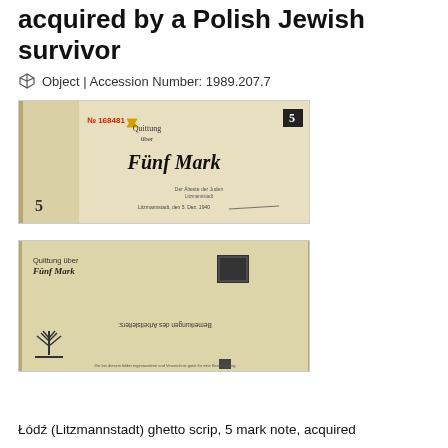acquired by a Polish Jewish survivor
Object | Accession Number: 1989.207.7
[Figure (photo): Front side of a Łódź (Litzmannstadt) ghetto 5 mark scrip note. The note is worn and torn. It shows 'Quittung über Fünf Mark' in Gothic script, a Star of David, serial number No 168481, and the numeral 5 in two corners.]
[Figure (photo): Back side of the same Łódź ghetto 5 mark scrip note. Shows a menorah stamp, worn honeycomb pattern background, text 'Quittung über Fünf Mark' and 'Bemerkungen des Arbeitsleiters:' with a dark rectangular stamp.]
Łódź (Litzmannstadt) ghetto scrip, 5 mark note, acquired